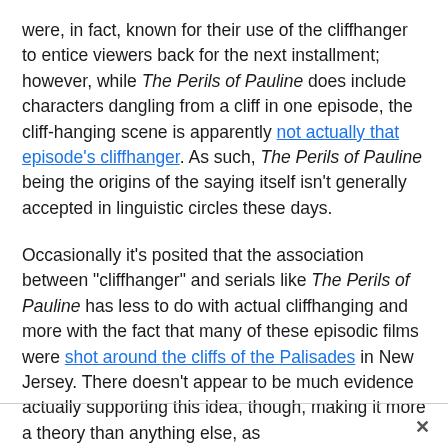were, in fact, known for their use of the cliffhanger to entice viewers back for the next installment; however, while The Perils of Pauline does include characters dangling from a cliff in one episode, the cliff-hanging scene is apparently not actually that episode's cliffhanger. As such, The Perils of Pauline being the origins of the saying itself isn't generally accepted in linguistic circles these days.
Occasionally it's posited that the association between "cliffhanger" and serials like The Perils of Pauline has less to do with actual cliffhanging and more with the fact that many of these episodic films were shot around the cliffs of the Palisades in New Jersey. There doesn't appear to be much evidence actually supporting this idea, though, making it more a theory than anything else, as